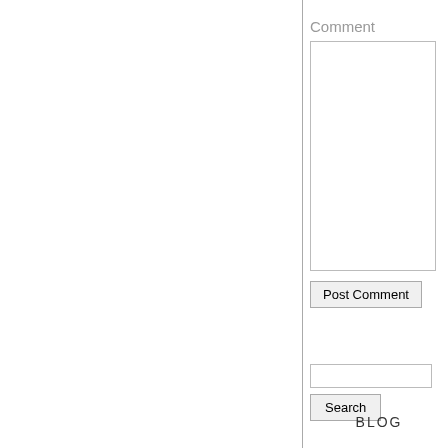Comment
[Figure (other): Comment textarea input box]
[Figure (other): Post Comment button]
[Figure (other): Search input field]
[Figure (other): Search button]
BLOG